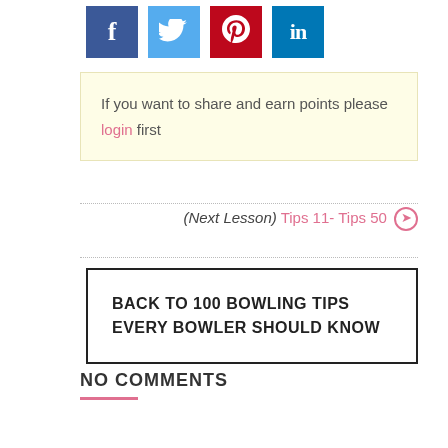[Figure (other): Social media share icons: Facebook (blue), Twitter (light blue), Pinterest (red), LinkedIn (teal)]
If you want to share and earn points please login first
(Next Lesson) Tips 11- Tips 50 →
BACK TO 100 BOWLING TIPS EVERY BOWLER SHOULD KNOW
NO COMMENTS